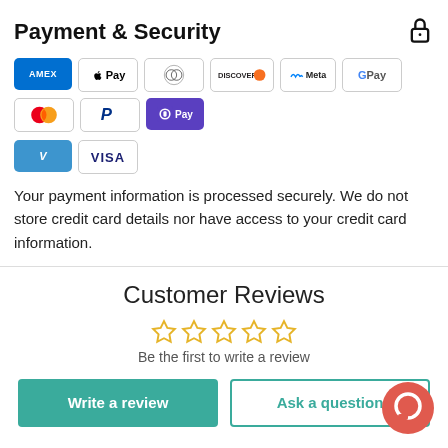Payment & Security
[Figure (infographic): Payment method logos: AMEX, Apple Pay, Diners Club, Discover, Meta Pay, Google Pay, Mastercard, PayPal, OPay, Venmo, VISA]
Your payment information is processed securely. We do not store credit card details nor have access to your credit card information.
Customer Reviews
[Figure (infographic): Five empty/outline star rating icons indicating no reviews yet]
Be the first to write a review
[Figure (infographic): Two buttons: 'Write a review' (teal filled) and 'Ask a question' (teal outline), plus a red chat bubble icon in bottom right]